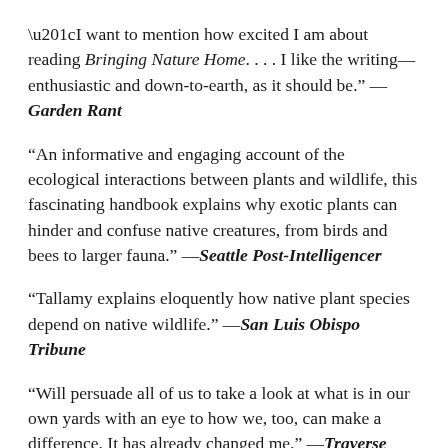“I want to mention how excited I am about reading Bringing Nature Home. . . . I like the writing—enthusiastic and down-to-earth, as it should be.” —Garden Rant
“An informative and engaging account of the ecological interactions between plants and wildlife, this fascinating handbook explains why exotic plants can hinder and confuse native creatures, from birds and bees to larger fauna.” —Seattle Post-Intelligencer
“Tallamy explains eloquently how native plant species depend on native wildlife.” —San Luis Obispo Tribune
“Will persuade all of us to take a look at what is in our own yards with an eye to how we, too, can make a difference. It has already changed me.” —Traverse City Record-Eagle